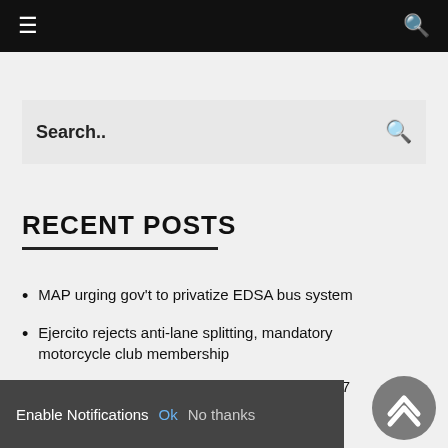≡  🔍
[Figure (screenshot): Search input box with search icon]
RECENT POSTS
MAP urging gov't to privatize EDSA bus system
Ejercito rejects anti-lane splitting, mandatory motorcycle club membership
Porsche celebrates 50 years of Carrera RS 2.7
[partially obscured] women train drivers
Best of both worlds
Enable Notifications  Ok  No thanks